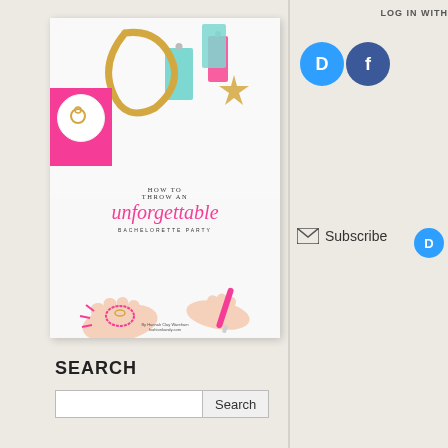[Figure (illustration): Book cover: 'HOW TO THROW AN unforgettable BACHELORETTE PARTY' with colorful party decorations, tags, and hands holding a pink pen. By Hannah Clay Wareham, fashionkandy.com]
LOG IN WITH
[Figure (logo): Disqus circular icon (blue) and Facebook circular icon (blue)]
[Figure (logo): Subscribe email icon with Subscribe text, and small Disqus icon]
SEARCH
Search input and Search button